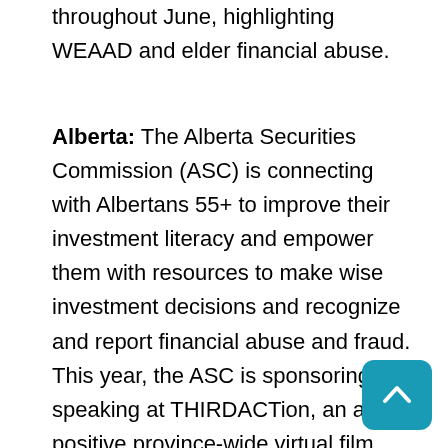throughout June, highlighting WEAAD and elder financial abuse.
Alberta: The Alberta Securities Commission (ASC) is connecting with Albertans 55+ to improve their investment literacy and empower them with resources to make wise investment decisions and recognize and report financial abuse and fraud. This year, the ASC is sponsoring and speaking at THIRDACTion, an age positive province-wide virtual film festival, as well asconnecting with caregivers and seniors through social media and traditional advertising, online presentations and a dedicated landing page on the CheckFirst.ca